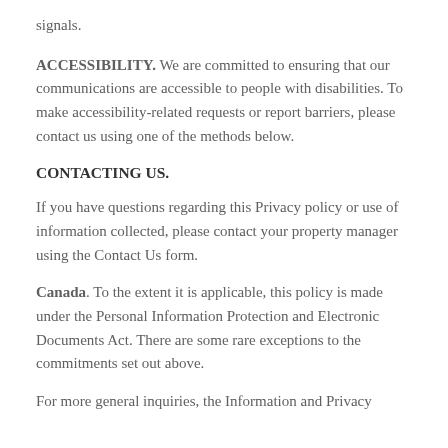signals.
ACCESSIBILITY. We are committed to ensuring that our communications are accessible to people with disabilities. To make accessibility-related requests or report barriers, please contact us using one of the methods below.
CONTACTING US.
If you have questions regarding this Privacy policy or use of information collected, please contact your property manager using the Contact Us form.
Canada. To the extent it is applicable, this policy is made under the Personal Information Protection and Electronic Documents Act. There are some rare exceptions to the commitments set out above.
For more general inquiries, the Information and Privacy